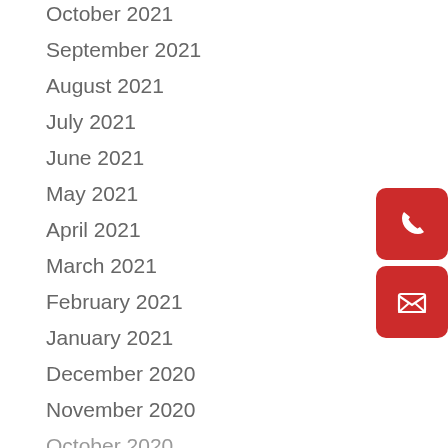October 2021
September 2021
August 2021
July 2021
June 2021
May 2021
April 2021
March 2021
February 2021
January 2021
December 2020
November 2020
October 2020
[Figure (illustration): Red rounded button with white phone icon]
[Figure (illustration): Red rounded button with white mail/envelope icon]